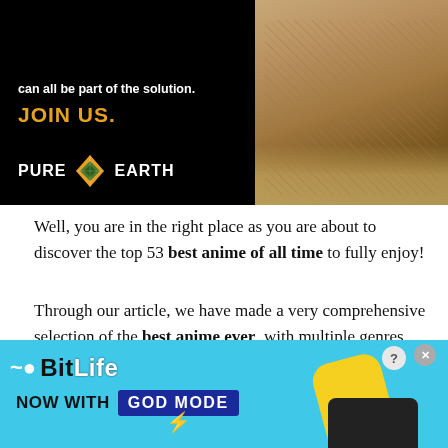[Figure (illustration): Pure Earth advertisement banner with black background on left showing 'can all be part of the solution. JOIN US.' in gold and Pure Earth logo, and a photo of a person working with natural materials on the right.]
Well, you are in the right place as you are about to discover the top 53 best anime of all time to fully enjoy!
Through our article, we have made a very comprehensive selection of the best anime ever, with multiple genres, themes, and options that suit all tastes.
Come on to find out the best anime of all time, see their summaries, then go to the streaming services where they are available for viewing.
[Figure (illustration): BitLife advertisement with blue background showing BitLife logo and 'NOW WITH GOD MODE' text with lightning bolt graphics and cartoon hand pointing.]